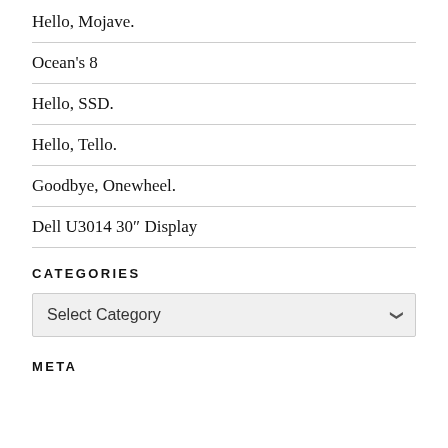Hello, Mojave.
Ocean's 8
Hello, SSD.
Hello, Tello.
Goodbye, Onewheel.
Dell U3014 30″ Display
CATEGORIES
Select Category
META